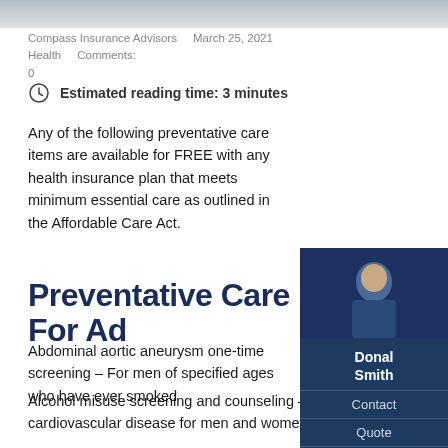[Figure (photo): Top banner image, partially visible, showing a blurred outdoor or stock photo]
Compass Insurance Advisors   March 25, 2021   Health   Comments: 0
Estimated reading time: 3 minutes
Any of the following preventative care items are available for FREE with any health insurance plan that meets minimum essential care as outlined in the Affordable Care Act.
Preventative Care For Ad
Abdominal aortic aneurysm one-time screening – For men of specified ages who have ever smoked
Alcohol misuse screening and counseling – To prevent cardiovascular disease for men and women of certain ages
[Figure (photo): Sidebar photo of Donal Smith, a man in a dark suit and blue shirt]
Donal Smith
Contact
Quote
Meet